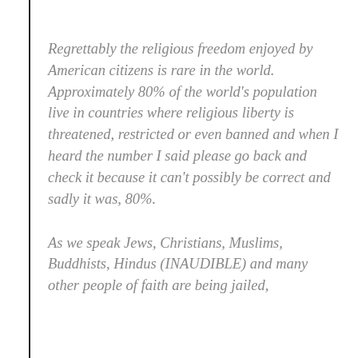Regrettably the religious freedom enjoyed by American citizens is rare in the world. Approximately 80% of the world's population live in countries where religious liberty is threatened, restricted or even banned and when I heard the number I said please go back and check it because it can't possibly be correct and sadly it was, 80%.
As we speak Jews, Christians, Muslims, Buddhists, Hindus (INAUDIBLE) and many other people of faith are being jailed,